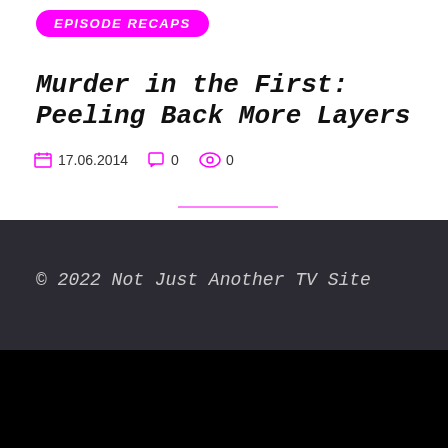EPISODE RECAPS
Murder in the First: Peeling Back More Layers
17.06.2014   0   0
© 2022 Not Just Another TV Site